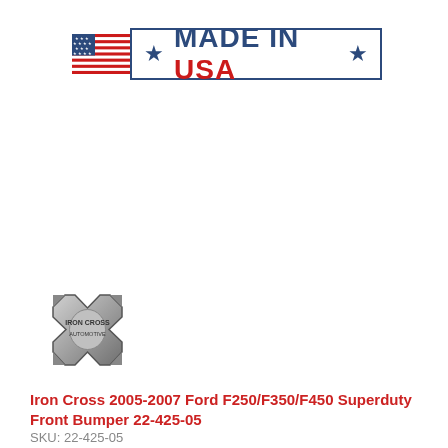[Figure (logo): Made in USA banner with American flag on left and text 'MADE IN USA' flanked by two stars inside a rectangular border]
[Figure (logo): Iron Cross Automotive logo — a silver/chrome iron cross shield emblem with text 'IRON CROSS AUTOMOTIVE']
Iron Cross 2005-2007 Ford F250/F350/F450 Superduty Front Bumper 22-425-05
SKU: 22-425-05